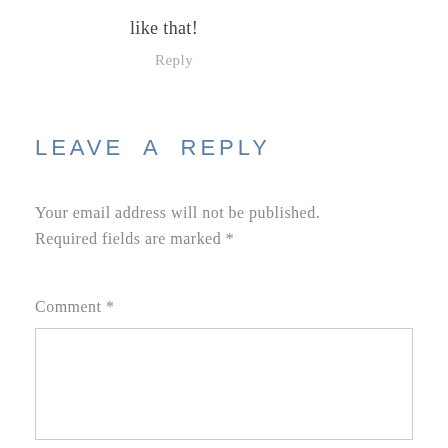like that!
Reply
LEAVE A REPLY
Your email address will not be published. Required fields are marked *
Comment *
[Figure (other): Empty comment text area input box with light gray border]